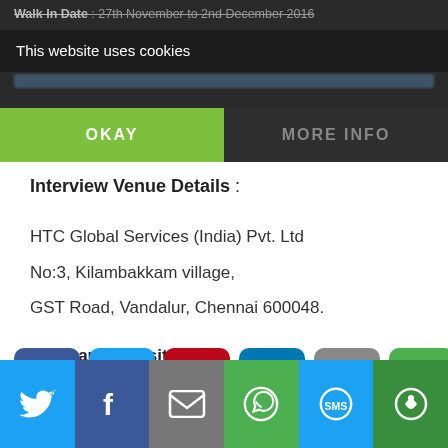Walk In Date : 27th November to 2nd December 2016
This website uses cookies
OKAY | MORE INFO
Interview Venue Details :
HTC Global Services (India) Pvt. Ltd
No:3, Kilambakkam village,
GST Road, Vandalur, Chennai 600048.
Company Website
: http://www.htcglobalservices.com/careers/home.html
[Figure (screenshot): Apply Now button in orange-red color]
[Figure (infographic): Social share icons row: Facebook, Twitter, Pinterest, LinkedIn, Email, Share]
[Figure (infographic): Bottom share bar: Twitter, Facebook, Email, WhatsApp, SMS, Share]